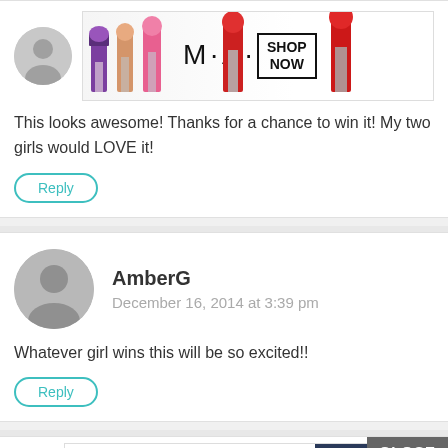[Figure (photo): MAC cosmetics advertisement banner with lipsticks and SHOP NOW button]
This looks awesome! Thanks for a chance to win it! My two girls would LOVE it!
Reply
[Figure (photo): User avatar placeholder circle for AmberG]
AmberG
December 16, 2014 at 3:39 pm
Whatever girl wins this will be so excited!!
Reply
[Figure (photo): Bloomingdales advertisement banner with SHOP NOW and CLOSE button]
[Figure (photo): Partial user avatar placeholder]